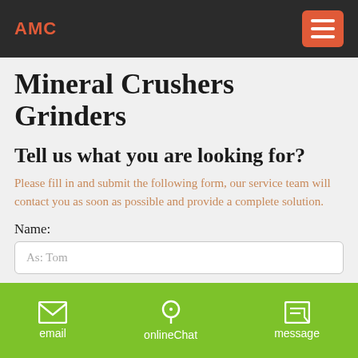AMC
Mineral Crushers Grinders
Tell us what you are looking for?
Please fill in and submit the following form, our service team will contact you as soon as possible and provide a complete solution.
Name:
As: Tom
Email: *
As: inquiry@shanghaimeilan.com
email  onlineChat  message